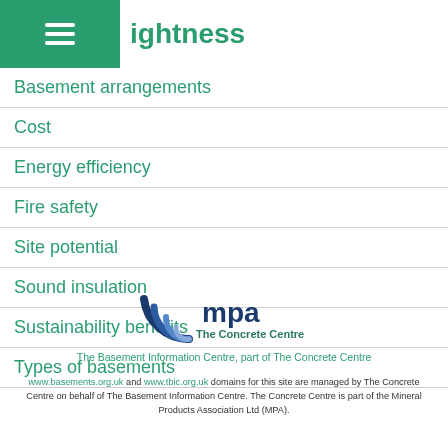ightness
Basement arrangements
Cost
Energy efficiency
Fire safety
Site potential
Sound insulation
Sustainability benefits
Types of basements
[Figure (logo): MPA The Concrete Centre logo with arc/wave graphic and text]
The Basement Information Centre, part of The Concrete Centre
www.basements.org.uk and www.tbic.org.uk domains for this site are managed by The Concrete Centre on behalf of The Basement Information Centre. The Concrete Centre is part of the Mineral Products Association Ltd (MPA).